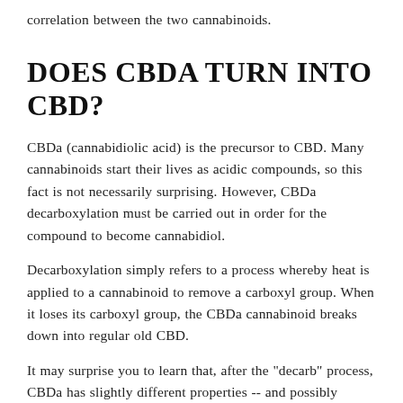correlation between the two cannabinoids.
DOES CBDA TURN INTO CBD?
CBDa (cannabidiolic acid) is the precursor to CBD. Many cannabinoids start their lives as acidic compounds, so this fact is not necessarily surprising. However, CBDa decarboxylation must be carried out in order for the compound to become cannabidiol.
Decarboxylation simply refers to a process whereby heat is applied to a cannabinoid to remove a carboxyl group. When it loses its carboxyl group, the CBDa cannabinoid breaks down into regular old CBD.
It may surprise you to learn that, after the "decarb" process, CBDa has slightly different properties -- and possibly different effects as a result. It appears that, for